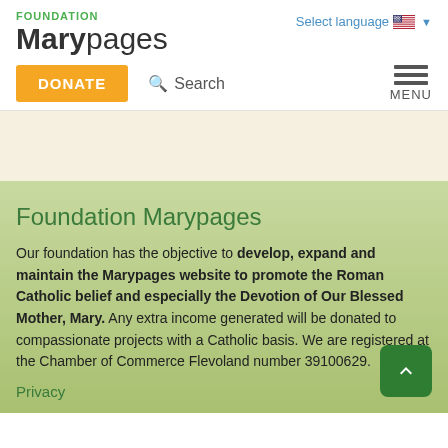FOUNDATION
Marypages
Select language
DONATE
Search
MENU
Foundation Marypages
Our foundation has the objective to develop, expand and maintain the Marypages website to promote the Roman Catholic belief and especially the Devotion of Our Blessed Mother, Mary. Any extra income generated will be donated to compassionate projects with a Catholic basis. We are registered at the Chamber of Commerce Flevoland number 39100629.
Privacy